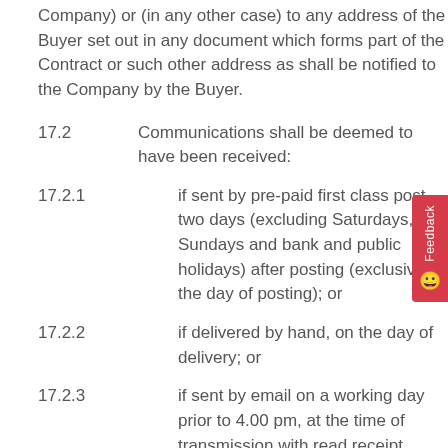Company) or (in any other case) to any address of the Buyer set out in any document which forms part of the Contract or such other address as shall be notified to the Company by the Buyer.
17.2	Communications shall be deemed to have been received:
17.2.1	if sent by pre-paid first class post, two days (excluding Saturdays, Sundays and bank and public holidays) after posting (exclusive of the day of posting); or
17.2.2	if delivered by hand, on the day of delivery; or
17.2.3	if sent by email on a working day prior to 4.00 pm, at the time of transmission with read receipt